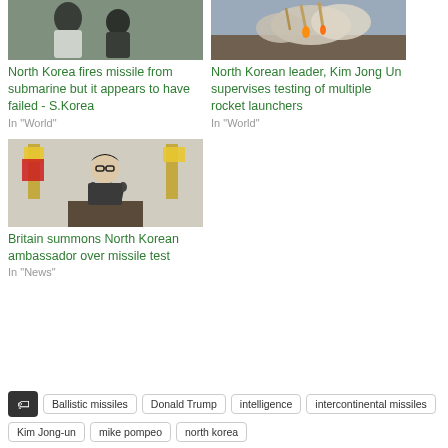[Figure (photo): People in white lab coats, North Korea missile scientists]
North Korea fires missile from submarine but it appears to have failed - S.Korea
In "World"
[Figure (photo): Rockets launching with large smoke clouds]
North Korean leader, Kim Jong Un supervises testing of multiple rocket launchers
In "World"
[Figure (photo): Kim Jong Un speaking at podium with microphones and flags]
Britain summons North Korean ambassador over missile test
In "News"
Ballistic missiles
Donald Trump
intelligence
intercontinental missiles
Kim Jong-un
mike pompeo
north korea